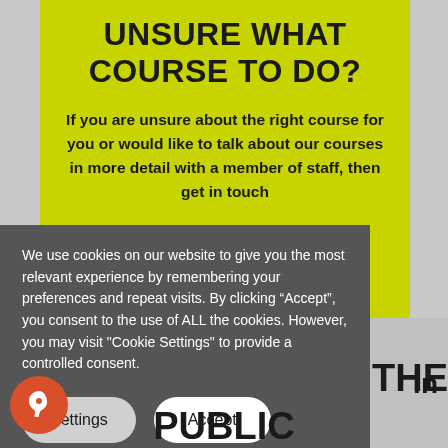UNSURE WHAT COURSE TO DO?
If you are unsure about the right course for you or would like to talk about our courses in more detail with a member of staff, then get in touch
We use cookies on our website to give you the most relevant experience by remembering your preferences and repeat visits. By clicking “Accept”, you consent to the use of ALL the cookies. However, you may visit "Cookie Settings" to provide a controlled consent.
Settings
Accept